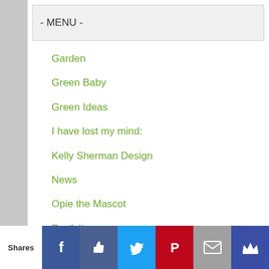- MENU -
Garden
Green Baby
Green Ideas
I have lost my mind:
Kelly Sherman Design
News
Opie the Mascot
Portfolio
Recipes
Reusable Bags
Ridiculous Garden Club
Ridiculous Redhead Design
Slider Posts
Uncategorized
Shares | Facebook | Like | Twitter | Pinterest | Email | Crown